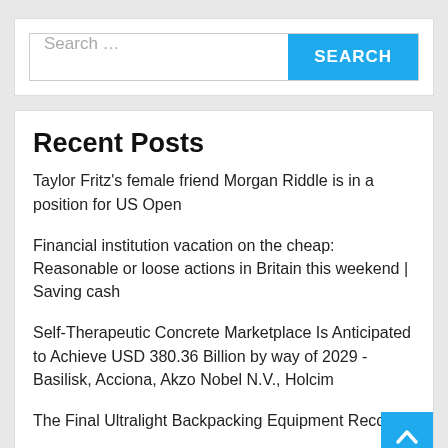Search ...
Recent Posts
Taylor Fritz's female friend Morgan Riddle is in a position for US Open
Financial institution vacation on the cheap: Reasonable or loose actions in Britain this weekend | Saving cash
Self-Therapeutic Concrete Marketplace Is Anticipated to Achieve USD 380.36 Billion by way of 2029 -Basilisk, Acciona, Akzo Nobel N.V., Holcim
The Final Ultralight Backpacking Equipment Record